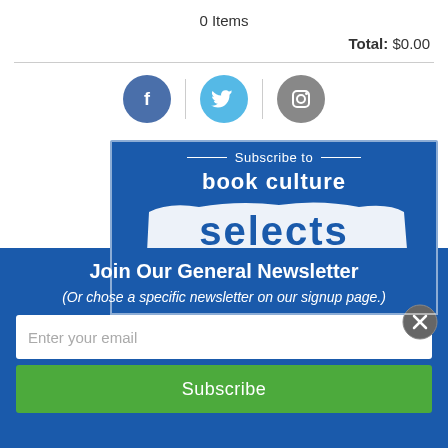0 Items
Total: $0.00
[Figure (illustration): Social media icons: Facebook (blue circle with f), Twitter (light blue circle with bird), Instagram (gray circle with camera)]
[Figure (illustration): Book Culture Selects subscription banner on blue background with brush stroke effect]
Join Our General Newsletter
(Or chose a specific newsletter on our signup page.)
Enter your email
Subscribe